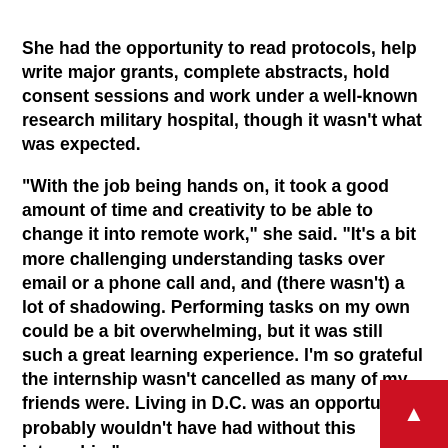She had the opportunity to read protocols, help write major grants, complete abstracts, hold consent sessions and work under a well-known research military hospital, though it wasn't what was expected.

"With the job being hands on, it took a good amount of time and creativity to be able to change it into remote work," she said. "It's a bit more challenging understanding tasks over email or a phone call and, and (there wasn't) a lot of shadowing. Performing tasks on my own could be a bit overwhelming, but it was still such a great learning experience. I'm so grateful the internship wasn't cancelled as many of my friends were. Living in D.C. was an opportunity I probably wouldn't have had without this internship."